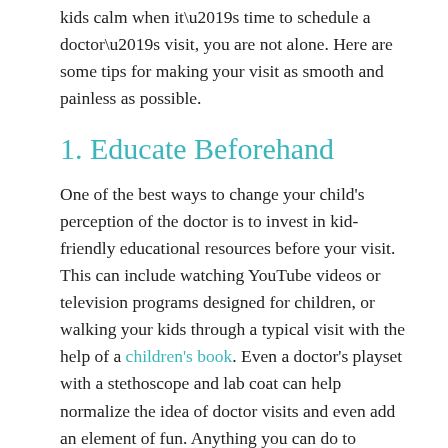kids calm when it’s time to schedule a doctor’s visit, you are not alone. Here are some tips for making your visit as smooth and painless as possible.
1. Educate Beforehand
One of the best ways to change your child’s perception of the doctor is to invest in kid-friendly educational resources before your visit. This can include watching YouTube videos or television programs designed for children, or walking your kids through a typical visit with the help of a children’s book. Even a doctor’s playset with a stethoscope and lab coat can help normalize the idea of doctor visits and even add an element of fun. Anything you can do to prepare the child before the visit will make your experience easier when it comes time to get the kids into the car.